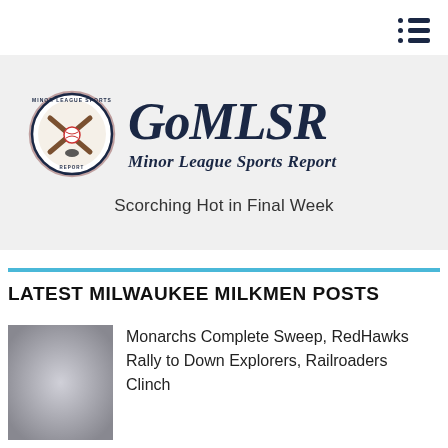[Figure (logo): GoMLSR Minor League Sports Report logo with circular emblem showing crossed baseball bats and sports equipment]
Scorching Hot in Final Week
LATEST MILWAUKEE MILKMEN POSTS
[Figure (photo): Blurred thumbnail image for article]
Monarchs Complete Sweep, RedHawks Rally to Down Explorers, Railroaders Clinch